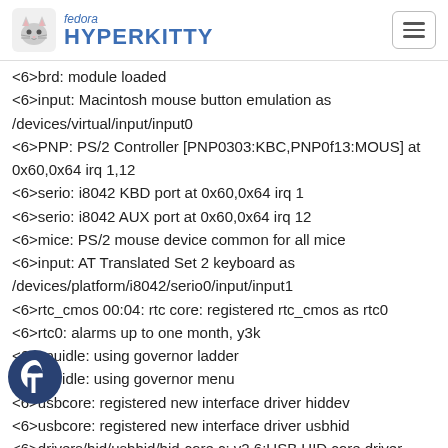fedora HYPERKITTY
<6>brd: module loaded
<6>input: Macintosh mouse button emulation as /devices/virtual/input/input0
<6>PNP: PS/2 Controller [PNP0303:KBC,PNP0f13:MOUS] at 0x60,0x64 irq 1,12
<6>serio: i8042 KBD port at 0x60,0x64 irq 1
<6>serio: i8042 AUX port at 0x60,0x64 irq 12
<6>mice: PS/2 mouse device common for all mice
<6>input: AT Translated Set 2 keyboard as /devices/platform/i8042/serio0/input/input1
<6>rtc_cmos 00:04: rtc core: registered rtc_cmos as rtc0
<6>rtc0: alarms up to one month, y3k
<6>cpuidle: using governor ladder
<6>cpuidle: using governor menu
<6>usbcore: registered new interface driver hiddev
<6>usbcore: registered new interface driver usbhid
<6>drivers/hid/usbhid/hid-core.c: v2.6:USB HID core driver
<6>TCP cubic registered
<6>Initializing XFRM netlink socket
<6>NET: Registered protocol family 1